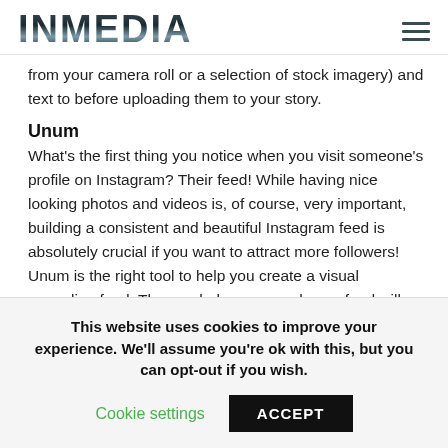INMEDIA
from your camera roll or a selection of stock imagery) and text to before uploading them to your story.
Unum
What’s the first thing you notice when you visit someone’s profile on Instagram? Their feed! While having nice looking photos and videos is, of course, very important, building a consistent and beautiful Instagram feed is absolutely crucial if you want to attract more followers! Unum is the right tool to help you create a visual appealing feed. The app helps you see how a feed will look like next to another one before
This website uses cookies to improve your experience. We’ll assume you’re ok with this, but you can opt-out if you wish.
Cookie settings  ACCEPT